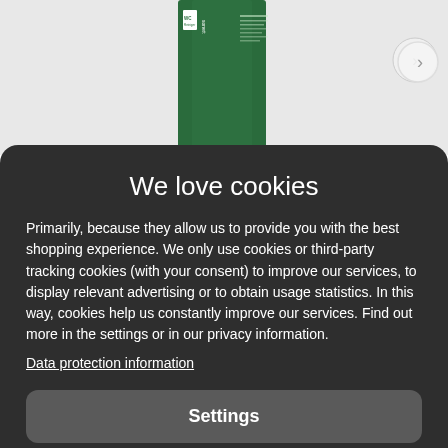[Figure (screenshot): Background showing product bottles — a green Sonett WC-Reiniger bottle on the left and an orange/white 'VER POWER 10X WC-Reiniger' bottle on the right, partially visible behind the cookie consent modal.]
We love cookies
Primarily, because they allow us to provide you with the best shopping experience. We only use cookies or third-party tracking cookies (with your consent) to improve our services, to display relevant advertising or to obtain usage statistics. In this way, cookies help us constantly improve our services. Find out more in the settings or in our privacy information.
Data protection information
Settings
Reject all
Accept all